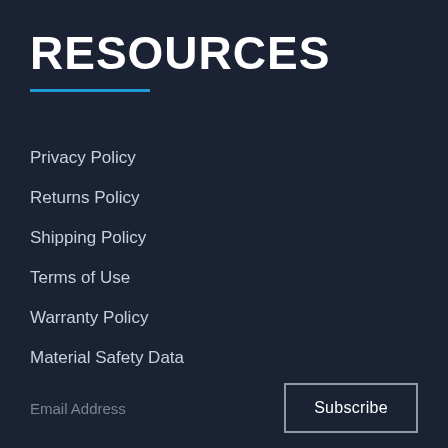RESOURCES
Privacy Policy
Returns Policy
Shipping Policy
Terms of Use
Warranty Policy
Material Safety Data
Email Address
Subscribe